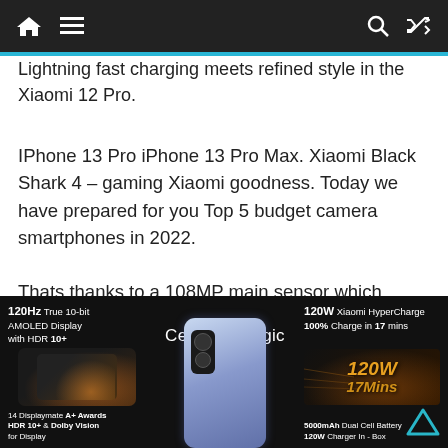Navigation bar with home, menu, search, shuffle icons
Lightning fast charging meets refined style in the Xiaomi 12 Pro.
IPhone 13 Pro iPhone 13 Pro Max. Xiaomi Black Shark 4 – gaming Xiaomi goodness. Today we have prepared for you Top 5 budget camera smartphones in 2022.
Thats thanks to a 108MP main sensor which shoots at 27MP by default combining four pixels into one to produce a.
[Figure (infographic): Xiaomi 12 Pro infographic showing: 120Hz True 10-bit AMOLED Display with HDR 10+, Celestial Magic branding, 120W Xiaomi HyperCharge 100% Charge in 17 mins, 14 Displaymate A+ Awards HDR 10+ & Dolby Vision for Display, 5000mAh Dual Cell Battery 120W Charger In-Box]